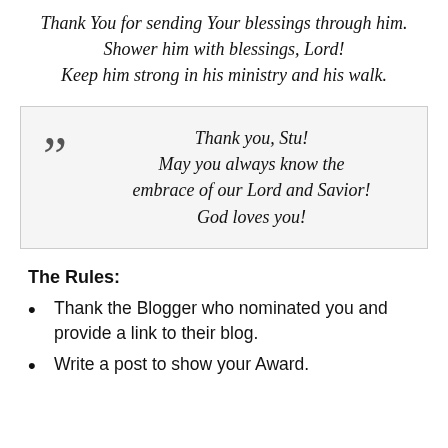Thank You for sending Your blessings through him. Shower him with blessings, Lord! Keep him strong in his ministry and his walk.
Thank you, Stu! May you always know the embrace of our Lord and Savior! God loves you!
The Rules:
Thank the Blogger who nominated you and provide a link to their blog.
Write a post to show your Award.